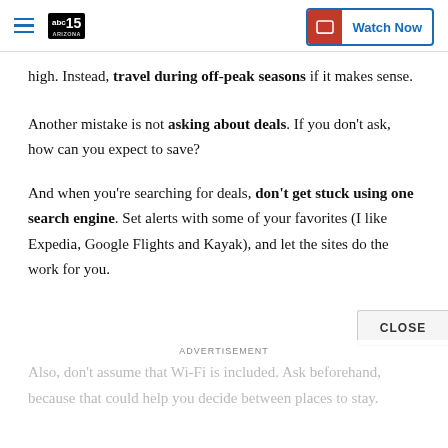ABC15 Arizona — Watch Now
high. Instead, travel during off-peak seasons if it makes sense.
Another mistake is not asking about deals. If you don't ask, how can you expect to save?
And when you're searching for deals, don't get stuck using one search engine. Set alerts with some of your favorites (I like Expedia, Google Flights and Kayak), and let the sites do the work for you.
Also, don't assume that Wi-Fi is included. Ask beforehand, because that could help you decide between places to stay.